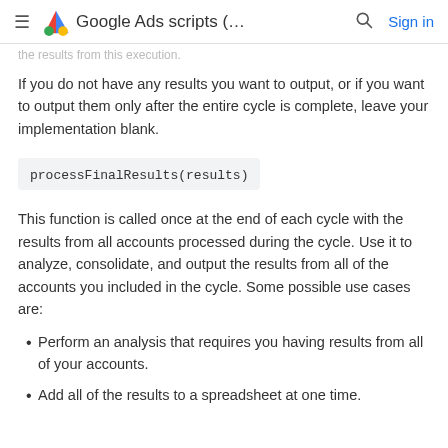Google Ads scripts (... Sign in
the results from this execution.
If you do not have any results you want to output, or if you want to output them only after the entire cycle is complete, leave your implementation blank.
processFinalResults(results)
This function is called once at the end of each cycle with the results from all accounts processed during the cycle. Use it to analyze, consolidate, and output the results from all of the accounts you included in the cycle. Some possible use cases are:
Perform an analysis that requires you having results from all of your accounts.
Add all of the results to a spreadsheet at one time.